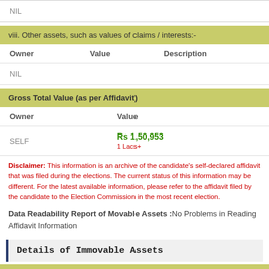| NIL |
viii. Other assets, such as values of claims / interests:-
| Owner | Value | Description |
| --- | --- | --- |
| NIL |  |  |
Gross Total Value (as per Affidavit)
| Owner | Value |
| --- | --- |
| SELF | Rs 1,50,953
1 Lacs+ |
Disclaimer: This information is an archive of the candidate’s self-declared affidavit that was filed during the elections. The current status of this information may be different. For the latest available information, please refer to the affidavit filed by the candidate to the Election Commission in the most recent election.
Data Readability Report of Movable Assets :No Problems in Reading Affidavit Information
Details of Immovable Assets
i. Agricultural Land: